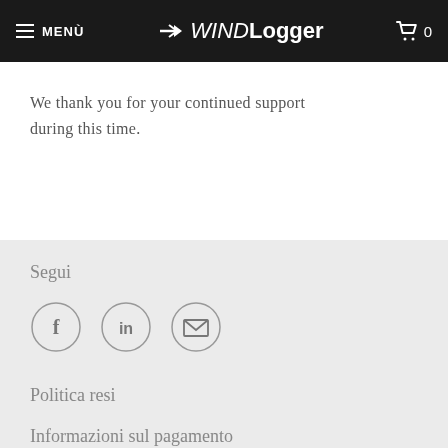MENÙ | WIND Logger | 0
We thank you for your continued support during this time.
Segui
[Figure (illustration): Three social media icon circles: Facebook (f), LinkedIn (in), and Email (envelope icon)]
Politica resi
Informazioni sul pagamento
Chi siamo